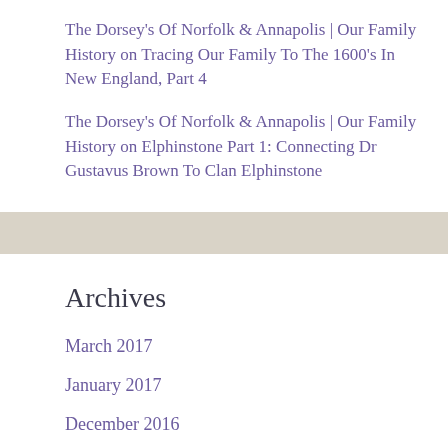The Dorsey's Of Norfolk & Annapolis | Our Family History on Tracing Our Family To The 1600's In New England, Part 4
The Dorsey's Of Norfolk & Annapolis | Our Family History on Elphinstone Part 1: Connecting Dr Gustavus Brown To Clan Elphinstone
Archives
March 2017
January 2017
December 2016
November 2016